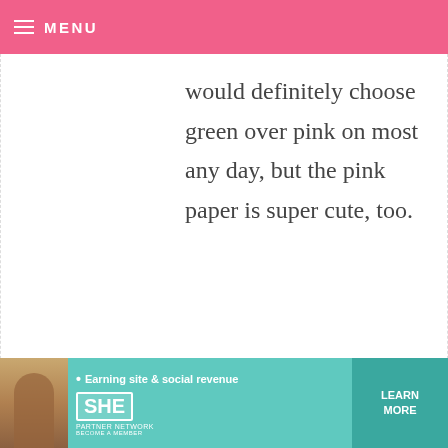MENU
would definitely choose green over pink on most any day, but the pink paper is super cute, too.
ANNIE — NOVEMBER 11, 2013 @ 2:13 AM  REPLY
Pink of course!!!
CHRISTI W — NOVEMBER 11, 2013 @ 2:12 AM  REPLY
[Figure (infographic): SHE Partner Network advertisement banner with photo of woman, text 'Earning site & social revenue', SHE logo, LEARN MORE button]